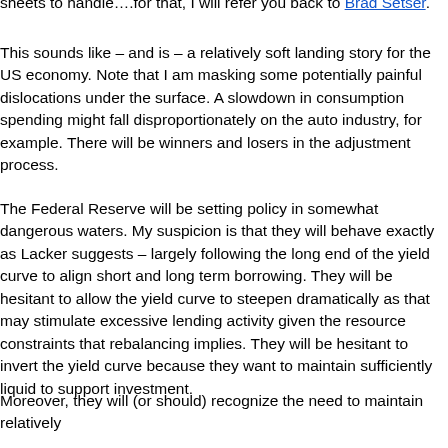sheets to handle….for that, I will refer you back to Brad Setser.
This sounds like – and is – a relatively soft landing story for the US economy. Note that I am masking some potentially painful dislocations under the surface. A slowdown in consumption spending might fall disproportionately on the auto industry, for example. There will be winners and losers in the adjustment process.
The Federal Reserve will be setting policy in somewhat dangerous waters. My suspicion is that they will behave exactly as Lacker suggests – largely following the long end of the yield curve to align short and long term borrowing. They will be hesitant to allow the yield curve to steepen dramatically as that may stimulate excessive lending activity given the resource constraints that rebalancing implies. They will be hesitant to invert the yield curve because they want to maintain sufficiently liquid to support investment.
Moreover, they will (or should) recognize the need to maintain relatively high short term rates to maintain capital inflows. Indeed, this is where real problems can emerge. If the dollar falls sharply, inflationary pressures could emerge quickly (especially if the era of low inflation has been the result of easy access to cheap foreign goods). This is where the Fed would have to bring out the big guns to both attract capital flows and resolve the consumption/production imbalance via a rapid unwinding. A sharp inversion of the yield curve would likely emerge… and I think